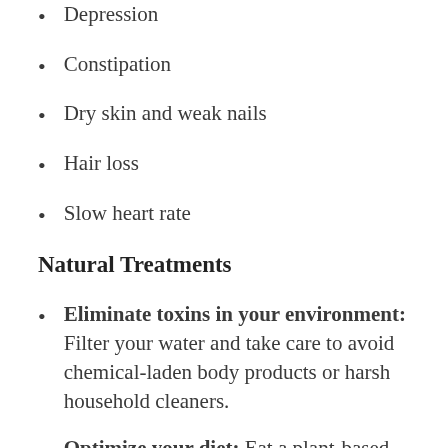Depression
Constipation
Dry skin and weak nails
Hair loss
Slow heart rate
Natural Treatments
Eliminate toxins in your environment: Filter your water and take care to avoid chemical-laden body products or harsh household cleaners.
Optimize your diet: Eat a plant-based diet and avoid processed foods and